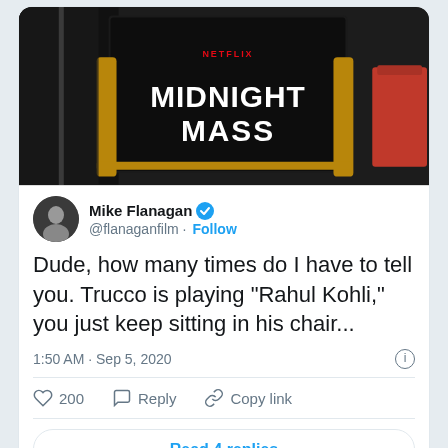[Figure (photo): A director's chair with a black back canvas reading 'MIDNIGHT MASS' in large white letters, with a Netflix logo above. A red chair is visible in the background. The setting appears to be on a film set.]
Mike Flanagan @flanaganfilm · Follow
Dude, how many times do I have to tell you. Trucco is playing "Rahul Kohli," you just keep sitting in his chair...
1:50 AM · Sep 5, 2020
200  Reply  Copy link
Read 4 replies